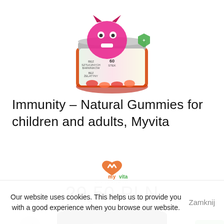[Figure (photo): Product photo of Myvita Immunity Natural Gummies supplement jar, colorful label with cartoon monster character, 60 pieces]
Immunity – Natural Gummies for children and adults, Myvita
[Figure (logo): Myvita brand logo with orange/green heart icon and text 'myvita' and tagline 'KEY TO VITALITY']
29,50 PLN
[Figure (photo): Partially visible dark product jar at bottom of page]
Our website uses cookies. This helps us to provide you with a good experience when you browse our website.
Zamknij